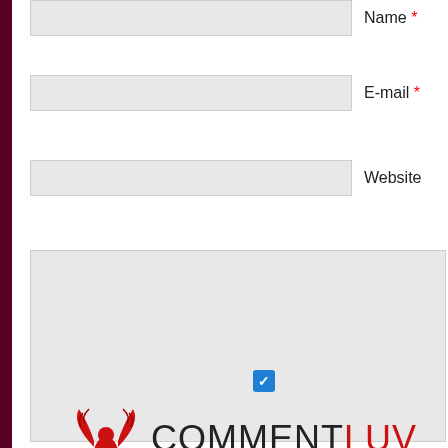Name *
E-mail *
Website
[Figure (screenshot): Large comment textarea input field with light gray background]
Submit
[Figure (logo): CommentLuv logo with a blue checkbox, red phoenix bird icon, and text COMMENTLUV where COMMENT is dark and LUV is red]